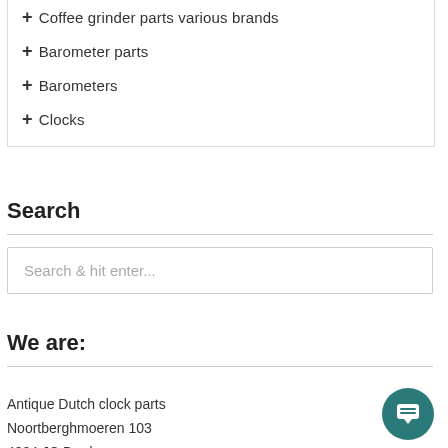+ Coffee grinder parts various brands
+ Barometer parts
+ Barometers
+ Clocks
Search
Search & hit enter...
We are:
Antique Dutch clock parts
Noortberghmoeren 103
4824 JC Breda
Netherlands
KvK 74371865